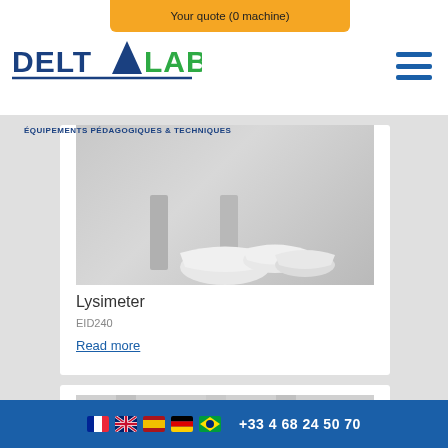[Figure (screenshot): Orange notification bar showing 'Your quote (0 machine)' at top of page]
[Figure (logo): Deltalab logo with text 'DELTA LAB' and tagline 'ÉQUIPEMENTS PÉDAGOGIQUES & TECHNIQUES']
[Figure (photo): Product photo showing Lysimeter lab equipment - white bowl/cup shapes on gray background]
Lysimeter
EID240
Read more
[Figure (photo): Partial product photo at bottom of page, partially cut off]
+33 4 68 24 50 70